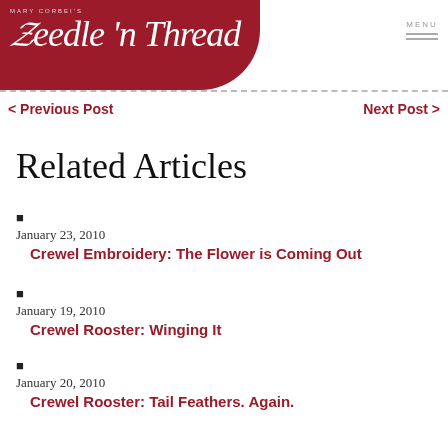Mary Corbett's Needle 'n Thread
< Previous Post   Next Post >
Related Articles
January 23, 2010
Crewel Embroidery: The Flower is Coming Out
January 19, 2010
Crewel Rooster: Winging It
January 20, 2010
Crewel Rooster: Tail Feathers. Again.